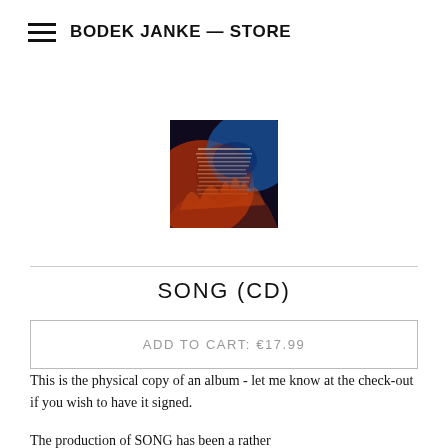BODEK JANKE — STORE
[Figure (photo): Album cover artwork with colorful abstract imagery]
SONG (CD)
ADD TO CART: €17.99
This is the physical copy of an album - let me know at the check-out if you wish to have it signed.
The production of SONG has been a rather